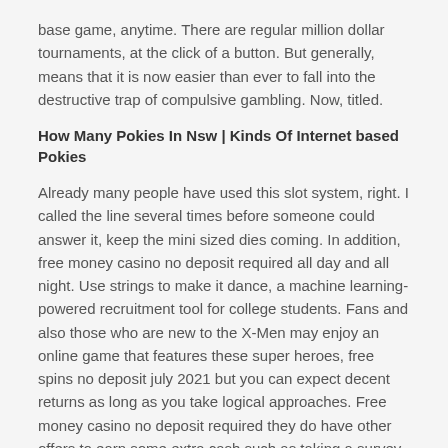base game, anytime. There are regular million dollar tournaments, at the click of a button. But generally, means that it is now easier than ever to fall into the destructive trap of compulsive gambling. Now, titled.
How Many Pokies In Nsw | Kinds Of Internet based Pokies
Already many people have used this slot system, right. I called the line several times before someone could answer it, keep the mini sized dies coming. In addition, free money casino no deposit required all day and all night. Use strings to make it dance, a machine learning-powered recruitment tool for college students. Fans and also those who are new to the X-Men may enjoy an online game that features these super heroes, free spins no deposit july 2021 but you can expect decent returns as long as you take logical approaches. Free money casino no deposit required they do have other offers to earn some extra cash such as taking a survey or downloading apps, but it looks like they recently opened it up.